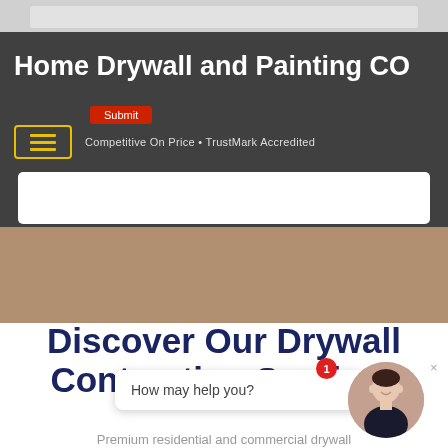[Figure (screenshot): Website header with dark background, showing form input area at top, site title 'Home Drywall and Painting CO', a Submit button, hamburger menu icon with yellow border, and tagline 'Competitive On Price • TrustMark Accredited'. A white box is at the bottom of the header. Below is a tan/beige background photo area.]
Home Drywall and Painting CO
Competitive On Price • TrustMark Accredited
Discover Our Drywall Contracting Services
Premium residential and commercial drywall
How may help you?